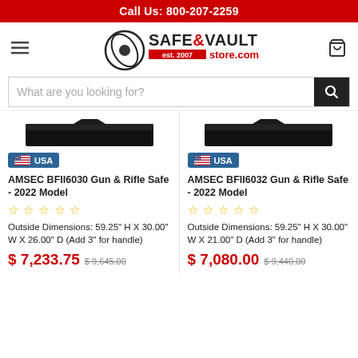Call Us: 800-207-2259
[Figure (logo): Safe & Vault Store.com logo with circular icon and hamburger menu and cart icon]
What are you looking for?
[Figure (photo): AMSEC BFII6030 Gun & Rifle Safe product image, black safe shown from above]
USA
AMSEC BFII6030 Gun & Rifle Safe - 2022 Model
☆ ☆ ☆ ☆ ☆
Outside Dimensions: 59.25" H X 30.00" W X 26.00" D (Add 3" for handle)
$ 7,233.75  $ 9,645.00
[Figure (photo): AMSEC BFII6032 Gun & Rifle Safe product image, black safe shown from above]
USA
AMSEC BFII6032 Gun & Rifle Safe - 2022 Model
☆ ☆ ☆ ☆ ☆
Outside Dimensions: 59.25" H X 30.00" W X 21.00" D (Add 3" for handle)
$ 7,080.00  $ 9,440.00